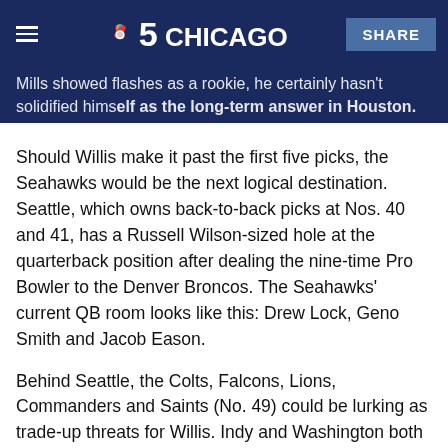NBC 5 Chicago — SHARE
Mills showed flashes as a rookie, he certainly hasn't solidified himself as the long-term answer in Houston.
Should Willis make it past the first five picks, the Seahawks would be the next logical destination. Seattle, which owns back-to-back picks at Nos. 40 and 41, has a Russell Wilson-sized hole at the quarterback position after dealing the nine-time Pro Bowler to the Denver Broncos. The Seahawks' current QB room looks like this: Drew Lock, Geno Smith and Jacob Eason.
Behind Seattle, the Colts, Falcons, Lions, Commanders and Saints (No. 49) could be lurking as trade-up threats for Willis. Indy and Washington both acquired a veteran QB this offseason, but Matt Ryan is about to turn 37 and it wouldn't hurt to have an insurance policy for Carson Wentz, who is coming off a couple of rough seasons. Meanwhile, Atlanta